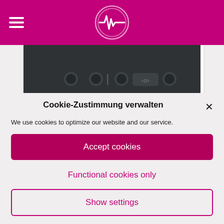[Figure (screenshot): Magenta navigation bar with hamburger menu icon on left and circular logo with heartbeat/waveform symbol in center]
[Figure (photo): Bottom portion of a dark-colored audio/electronic device remote control or receiver]
The nerd from Welt would rather use the app, which works quite well after pairing in BT mode. You also
Cookie-Zustimmung verwalten
We use cookies to optimize our website and our service.
Accept cookies
Functional cookies only
Show settings